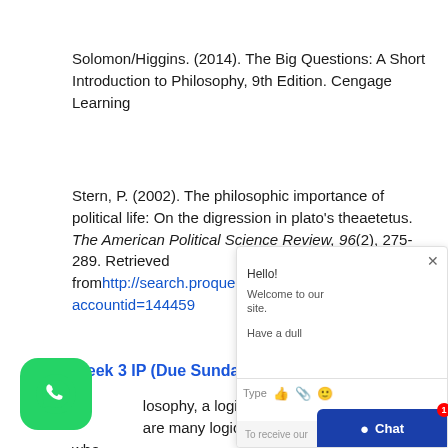Solomon/Higgins. (2014). The Big Questions: A Short Introduction to Philosophy, 9th Edition. Cengage Learning
Stern, P. (2002). The philosophic importance of political life: On the digression in plato's theaetetus. The American Political Science Review, 96(2), 275-289. Retrieved fromhttp://search.proquest.com/docview/2144... accountid=144459
Week 3 IP (Due Sunday 5.18.14):
...losophy, a logical error is called a logical ... ...are many logical fallacies to watch out for when making or evaluating a philosophical argument.